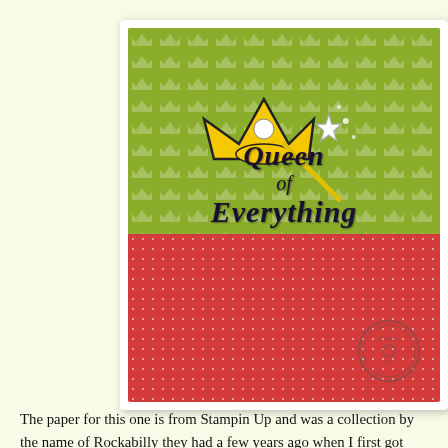[Figure (photo): A crafted card or notebook with 'Queen of Everything' text in blackletter font. The top half has a green background with white crown pattern, featuring a yellow crown and wand graphic. The bottom half has a red polka-dot background. A circular watermark/stamp is visible in the lower right corner.]
The paper for this one is from Stampin Up and was a collection by the name of Rockabilly they had a few years ago when I first got into Stampin Up. I got the crown and wand from the internet and imported it into MTC for cutting. I used a font from my computer for the lettering and I believe it might be Blackletter, or something of that sort.